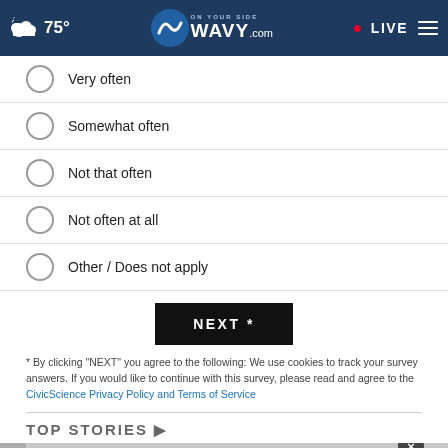75° ON YOUR SIDE WAVY.com • LIVE
Very often
Somewhat often
Not that often
Not often at all
Other / Does not apply
NEXT *
* By clicking "NEXT" you agree to the following: We use cookies to track your survey answers. If you would like to continue with this survey, please read and agree to the CivicScience Privacy Policy and Terms of Service
TOP STORIES ▶
[Figure (photo): American Lung Association advertisement: Get SAVEDBYTHESCAN.ORG with ad council logo]